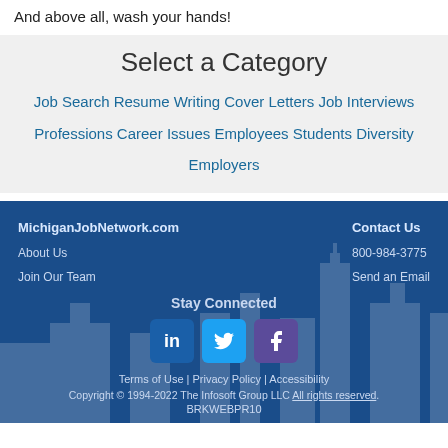And above all, wash your hands!
Select a Category
Job Search   Resume Writing   Cover Letters   Job Interviews   Professions   Career Issues   Employees   Students   Diversity   Employers
MichiganJobNetwork.com
About Us
Join Our Team
Contact Us
800-984-3775
Send an Email
Stay Connected
Terms of Use | Privacy Policy | Accessibility
Copyright © 1994-2022 The Infosoft Group LLC All rights reserved.
BRKWEBPR10